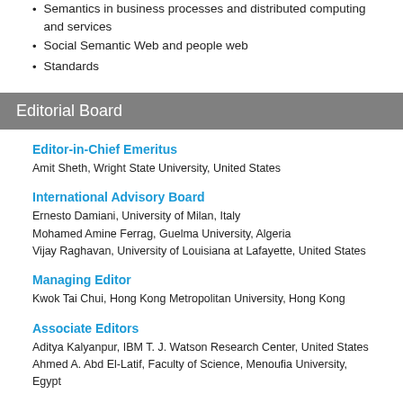Semantics in business processes and distributed computing and services
Social Semantic Web and people web
Standards
Editorial Board
Editor-in-Chief Emeritus
Amit Sheth, Wright State University, United States
International Advisory Board
Ernesto Damiani, University of Milan, Italy
Mohamed Amine Ferrag, Guelma University, Algeria
Vijay Raghavan, University of Louisiana at Lafayette, United States
Managing Editor
Kwok Tai Chui, Hong Kong Metropolitan University, Hong Kong
Associate Editors
Aditya Kalyanpur, IBM T. J. Watson Research Center, United States
Ahmed A. Abd El-Latif, Faculty of Science, Menoufia University, Egypt